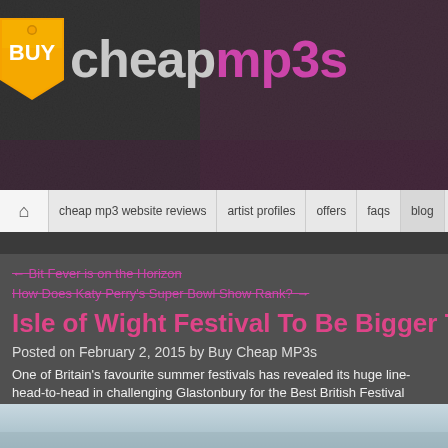[Figure (logo): BuyCheapMP3s website header banner with logo showing orange price-tag with BUY text, followed by 'cheap' in grey and 'mp3s' in pink/magenta, on dark textured background]
cheap mp3 website reviews | artist profiles | offers | faqs | blog
← Bit Fever is on the Horizon
How Does Katy Perry's Super Bowl Show Rank? →
Isle of Wight Festival To Be Bigger Than Eve
Posted on February 2, 2015 by Buy Cheap MP3s
One of Britain's favourite summer festivals has revealed its huge line- head-to-head in challenging Glastonbury for the Best British Festival
Last week, the organisers of the Isle of Wight festival released eight an already sophisticated line up. The festival are known for having a m of music including rock, dance and classical genres, spread across o will be June 11th – 14th in 2015.
[Figure (photo): Bottom strip showing a partial outdoor photo, appears to be a festival or outdoor scene]